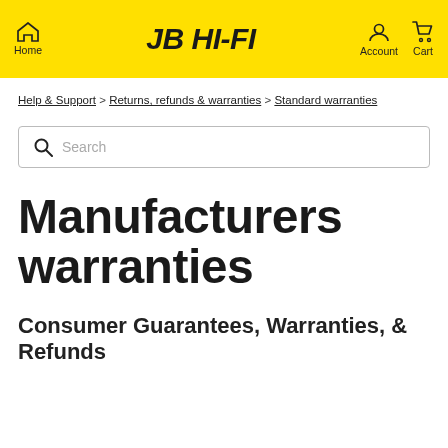JB HI-FI — Home | Account | Cart
Help & Support > Returns, refunds & warranties > Standard warranties
Search
Manufacturers warranties
Consumer Guarantees, Warranties, & Refunds